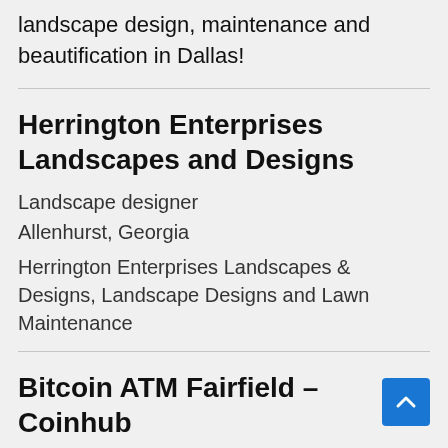landscape design, maintenance and beautification in Dallas!
Herrington Enterprises Landscapes and Designs
Landscape designer
Allenhurst, Georgia
Herrington Enterprises Landscapes & Designs, Landscape Designs and Lawn Maintenance
Bitcoin ATM Fairfield – Coinhub